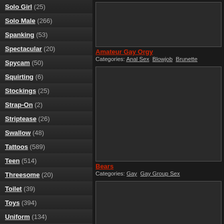Solo Girl (25)
Solo Male (266)
Spanking (53)
Spectacular (20)
Spycam (50)
Squirting (6)
Stockings (25)
Strap-On (2)
Striptease (26)
Swallow (48)
Tattoos (589)
Teen (514)
Threesome (20)
Toilet (39)
Toys (394)
Uniform (134)
Vaginal Masturbation (9)
[Figure (screenshot): Video thumbnail placeholder, dark rectangle]
Amateur Gay Orgy
Categories: Anal Sex  Blowjob  Brunette
[Figure (screenshot): Video thumbnail placeholder, dark rectangle]
Bears
Categories: Gay  Gay Group Sex
[Figure (screenshot): Video thumbnail placeholder, dark rectangle]